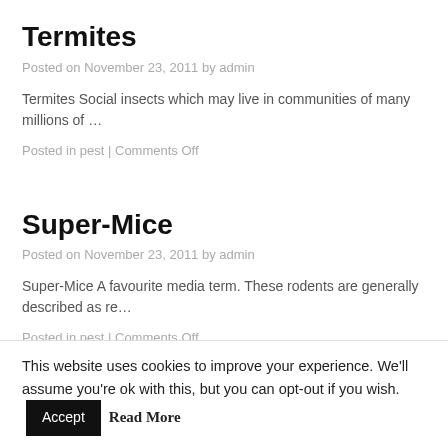Termites
Posted on November 23, 2011 by admin
Termites Social insects which may live in communities of many millions of …
Posted in pest | Comments Off
Super-Mice
Posted on November 23, 2011 by admin
Super-Mice A favourite media term. These rodents are generally described as re…
Posted in pest | Comments Off
This website uses cookies to improve your experience. We'll assume you're ok with this, but you can opt-out if you wish. Accept Read More